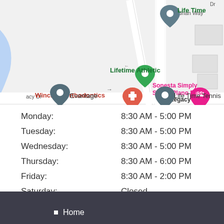[Figure (map): Google Maps showing location near Legacy Dr with pins for Wincrest Orthodontics, Lifetime Athletic, Life Time, Life Time Tennis, Evantage, and Sonesta Simply Suites Plano Frisco]
| Day | Hours |
| --- | --- |
| Monday: | 8:30 AM - 5:00 PM |
| Tuesday: | 8:30 AM - 5:00 PM |
| Wednesday: | 8:30 AM - 5:00 PM |
| Thursday: | 8:30 AM - 6:00 PM |
| Friday: | 8:30 AM - 2:00 PM |
| Saturday: | Closed |
| Sunday: | Closed |
Home